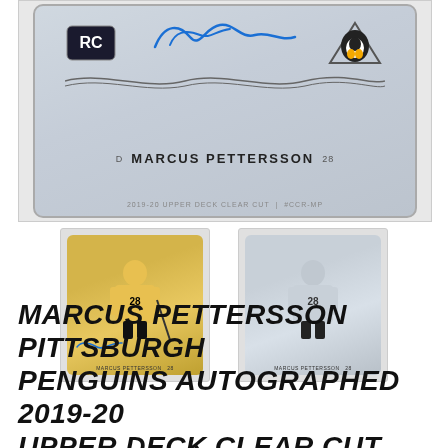[Figure (photo): Main autographed hockey card of Marcus Pettersson (Pittsburgh Penguins) in a clear protective case. The card shows RC badge, Penguins logo, blue autograph signature, player name MARCUS PETTERSSON, position D, number 28.]
[Figure (photo): Thumbnail of front of Marcus Pettersson rookie autograph card showing player in yellow Penguins jersey with blue signature.]
[Figure (photo): Thumbnail of back/side view of the Marcus Pettersson clear cut rookie card in gray tones.]
MARCUS PETTERSSON PITTSBURGH PENGUINS AUTOGRAPHED 2019-20 UPPER DECK CLEAR CUT #CCR-MP ROOKIE CARD – PACK PULLED